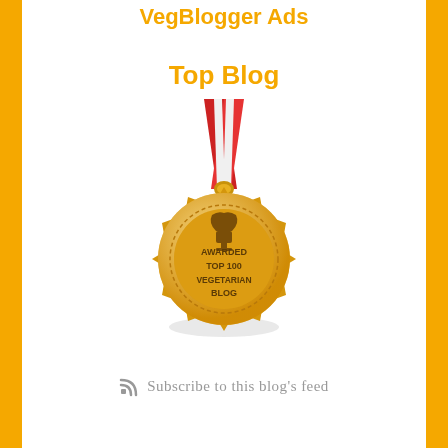VegBlogger Ads
Top Blog
[Figure (illustration): Gold medal with red and white ribbon. Medal has gear/starburst edge, dotted inner ring, trophy icon at top, and text: AWARDED TOP 100 VEGETARIAN BLOG. Shadow beneath medal.]
Subscribe to this blog's feed